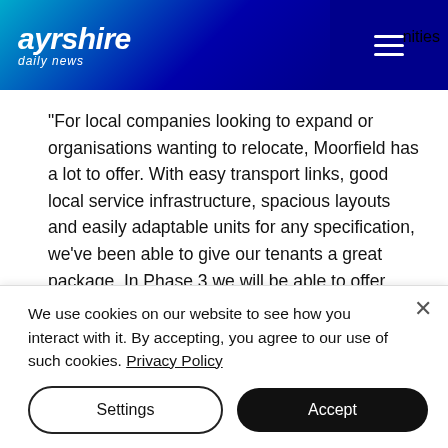ayrshire daily news
“For local companies looking to expand or organisations wanting to relocate, Moorfield has a lot to offer. With easy transport links, good local service infrastructure, spacious layouts and easily adaptable units for any specification, we’ve been able to give our tenants a great package. In Phase 3 we will be able to offer both purpose built units or serviced plots. It will all help give our businesses a head start and our local economy and
We use cookies on our website to see how you interact with it. By accepting, you agree to our use of such cookies. Privacy Policy
Settings
Accept